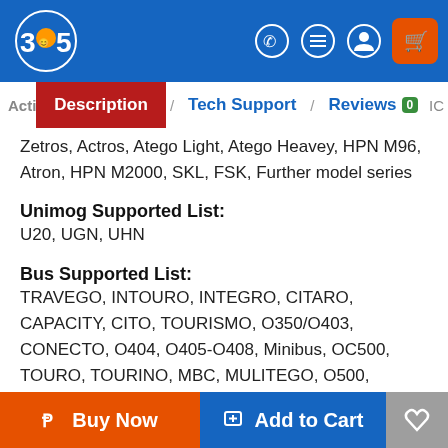305 [logo] — navigation bar with WhatsApp, menu, account, cart icons
Description | Tech Support | Reviews 0
Zetros, Actros, Atego Light, Atego Heavey, HPN M96, Atron, HPN M2000, SKL, FSK, Further model series
Unimog Supported List:
U20, UGN, UHN
Bus Supported List:
TRAVEGO, INTOURO, INTEGRO, CITARO, CAPACITY, CITO, TOURISMO, O350/O403, CONECTO, O404, O405-O408, Minibus, OC500, TOURO, TOURINO, MBC, MULITEGO, O500, O500/OH, OH, OH368, OF, OF384, LO, O400, FURTHER MODEL SERIES
Buy Now | Add to Cart | Wishlist